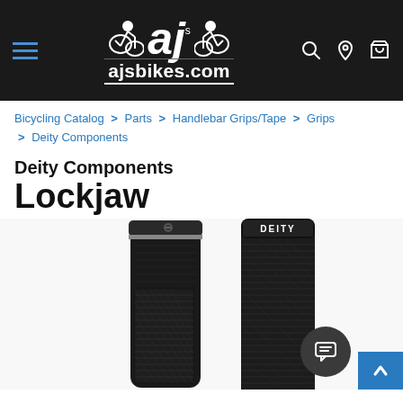ajsbikes.com — AJ's Bikes header with logo, hamburger menu, search, location, and cart icons
Bicycling Catalog > Parts > Handlebar Grips/Tape > Grips > Deity Components
Deity Components Lockjaw
[Figure (photo): Two Deity Components Lockjaw bicycle handlebar grips in black, shown side by side. Left grip shows the lock ring end with a screw. Right grip shows the textured rubber pattern with DEITY branding label.]